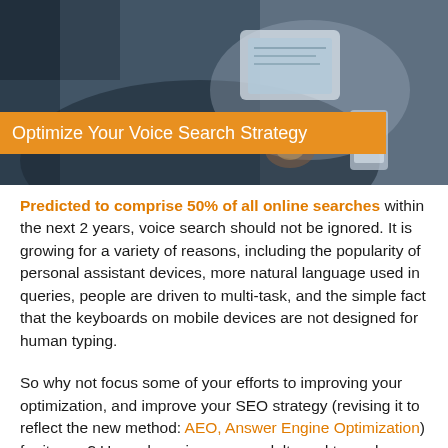[Figure (photo): Person in business suit holding a tablet and smartphone, with an orange banner overlay reading 'Optimize Your Voice Search Strategy']
Predicted to comprise 50% of all online searches within the next 2 years, voice search should not be ignored. It is growing for a variety of reasons, including the popularity of personal assistant devices, more natural language used in queries, people are driven to multi-task, and the simple fact that the keyboards on mobile devices are not designed for human typing.
So why not focus some of your efforts to improving your optimization, and improve your SEO strategy (revising it to reflect the new method: AEO, Answer Engine Optimization) for its use? Up-and-coming young adults and teens have grown up with voice search, which makes it an obvious focus